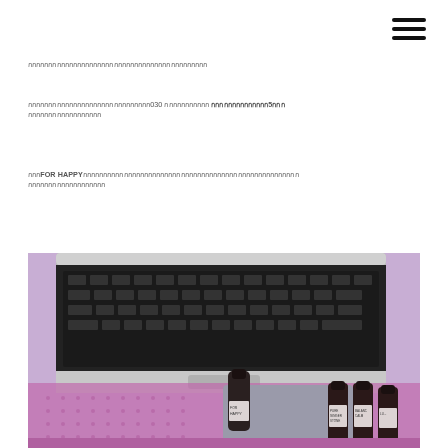[Figure (other): Hamburger menu icon (three horizontal lines) in top right corner]
กกกกกกกกกกกกกกกกกกกกกกกกกกกกกกกกกกกกกกกกกกกก
กกกกกกกกกกกกกกกกกกกกกกกกกกกกกก030กกกกกกกกกกก กกกกกกกกกกกกกก5กกก กกกกกกกกกกกกกกกกกก
กกกFOR HAPPYกกกกกกกกกกกกกกกกกกกกกกกกกกกกกกกกกกกกกกกกกกกกกกกกกกกกก กกกกกกกกกกกกกกกกกกก
[Figure (photo): Photo of a laptop keyboard on a purple yoga mat with small essential oil bottles. One bottle is labeled FOR HAPPY. Other bottles include PURE, GINGER, STONE and BALANCING, CALM labels visible.]